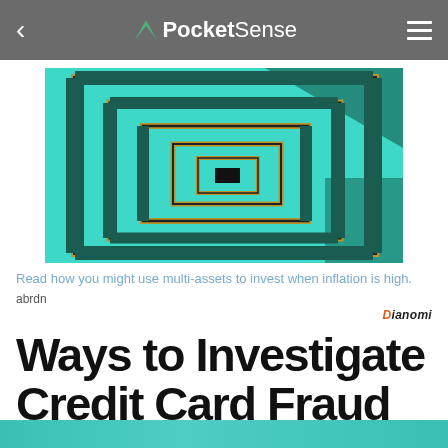PocketSense
[Figure (photo): Looking down a spiral staircase with teal/turquoise walls and gold/dark metal railings, creating a recursive square pattern]
Read how you might use multi-assets to invest when inflation is high.
abrdn
Dianomi
Ways to Investigate Credit Card Fraud